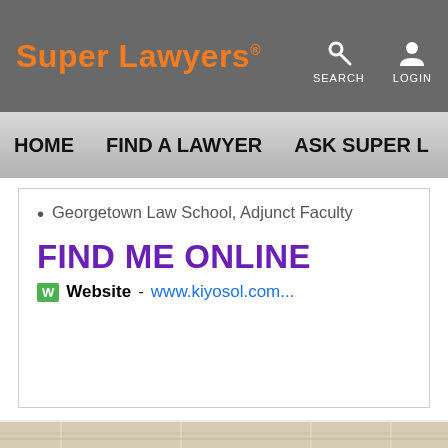Super Lawyers · SEARCH LOGIN
HOME   FIND A LAWYER   ASK SUPER L
Georgetown Law School, Adjunct Faculty
FIND ME ONLINE
Website - www.kiyosol.com...
Office Location for Debra Soltis
1827 Jefferson Pl NW
Washington, DC 20036
Phone: 202-363-2776
Fax: 202-363-2749
[Figure (map): Street map showing office location]